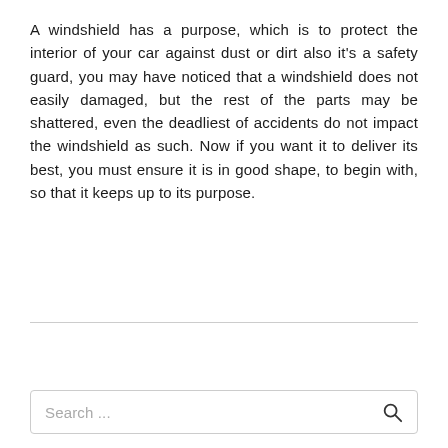A windshield has a purpose, which is to protect the interior of your car against dust or dirt also it's a safety guard, you may have noticed that a windshield does not easily damaged, but the rest of the parts may be shattered, even the deadliest of accidents do not impact the windshield as such. Now if you want it to deliver its best, you must ensure it is in good shape, to begin with, so that it keeps up to its purpose.
Search ...